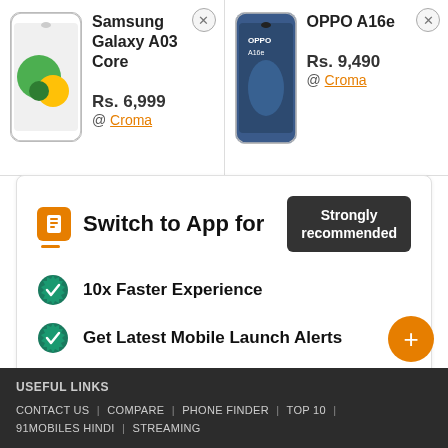[Figure (screenshot): Samsung Galaxy A03 Core smartphone product image]
Samsung Galaxy A03 Core
Rs. 6,999
@ Croma
[Figure (screenshot): OPPO A16e smartphone product image]
OPPO A16e
Rs. 9,490
@ Croma
Switch to App for
Strongly recommended
10x Faster Experience
Get Latest Mobile Launch Alerts
Instant Price Drop Notifications
DOWNLOAD OUR APP
USEFUL LINKS
CONTACT US | COMPARE | PHONE FINDER | TOP 10 |
91MOBILES HINDI | STREAMING